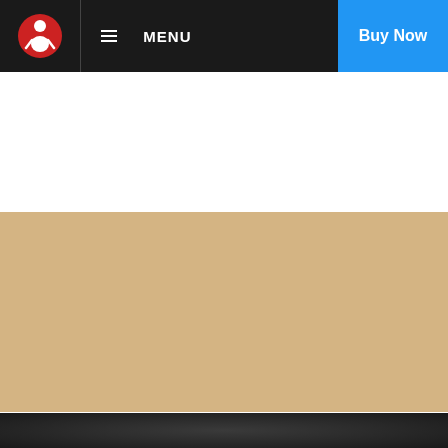MENU | Buy Now
[Figure (screenshot): YouTube video thumbnail for '2040 - Official Trailer' showing large stylized '2040' text with green foliage, a red YouTube play button in the center, and the tagline 'Join the REGENERATION' at the bottom. Video player embedded on a sandy/tan background section of a website.]